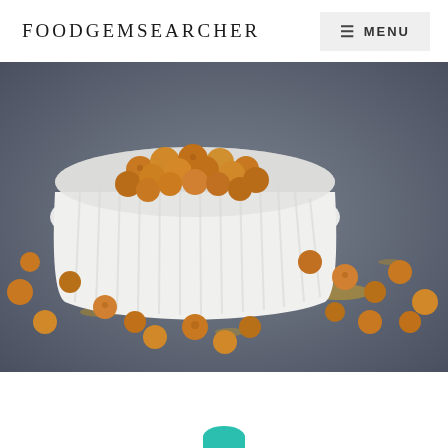FoodGemSearcher
[Figure (photo): A white ribbed ceramic ramekin filled with roasted golden chickpeas, surrounded by scattered chickpeas and yellow turmeric powder on a dark grey slate surface.]